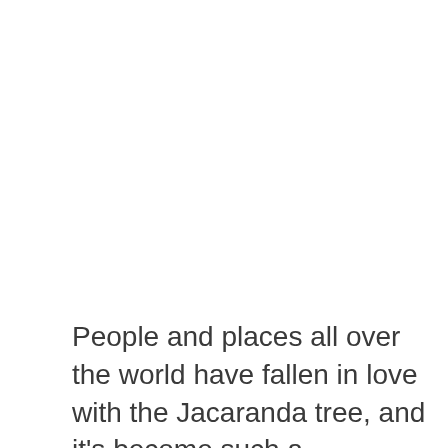People and places all over the world have fallen in love with the Jacaranda tree, and it's become such a recognizable symbol of the culture of these places that its actual nativity is forgotten. Australia, Africa,